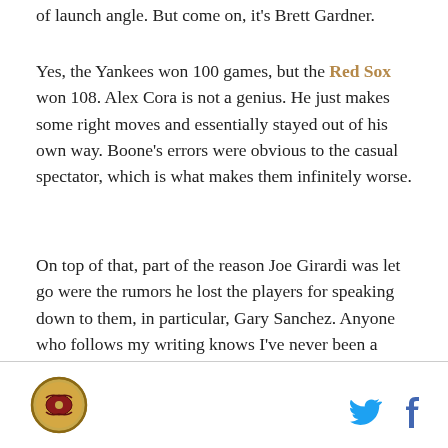of launch angle. But come on, it's Brett Gardner.
Yes, the Yankees won 100 games, but the Red Sox won 108. Alex Cora is not a genius. He just makes some right moves and essentially stayed out of his own way. Boone's errors were obvious to the casual spectator, which is what makes them infinitely worse.
On top of that, part of the reason Joe Girardi was let go were the rumors he lost the players for speaking down to them, in particular, Gary Sanchez. Anyone who follows my writing knows I've never been a Sanchez fan and his regression this season shows why. Little has to do with his bat, but more with what seemed like a lack of any fire for the game.
[Figure (logo): Circular sports logo at page footer left]
[Figure (other): Twitter bird icon and Facebook f icon in page footer right]